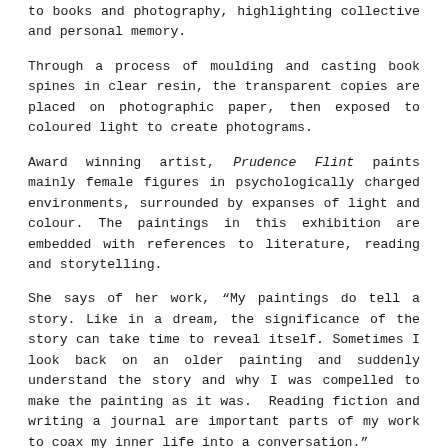to books and photography, highlighting collective and personal memory.
Through a process of moulding and casting book spines in clear resin, the transparent copies are placed on photographic paper, then exposed to coloured light to create photograms.
Award winning artist, Prudence Flint paints mainly female figures in psychologically charged environments, surrounded by expanses of light and colour. The paintings in this exhibition are embedded with references to literature, reading and storytelling.
She says of her work, “My paintings do tell a story. Like in a dream, the significance of the story can take time to reveal itself. Sometimes I look back on an older painting and suddenly understand the story and why I was compelled to make the painting as it was.  Reading fiction and writing a journal are important parts of my work to coax my inner life into a conversation.”